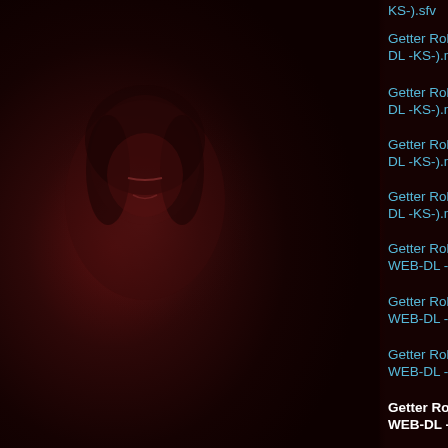[Figure (illustration): Dark red-toned anime character illustration on the left side of the page, partially visible, with a dark maroon background.]
Getter Robo Arc (720p VRV Dual Audio WEB-DL -KS-).sfv
Getter Robo Arc - S01E01 (720p VRV Dual Audio WEB-DL -KS-).mkv
Getter Robo Arc - S01E02 (720p VRV Dual Audio WEB-DL -KS-).mkv
Getter Robo Arc - S01E03 (720p VRV Dual Audio WEB-DL -KS-).mkv
Getter Robo Arc - S01E04 (720p VRV Dual Audio WEB-DL -KS-).mkv
Getter Robo Arc - S01E05 (v2) (720p VRV Dual Audio WEB-DL -KS-).mkv
Getter Robo Arc - S01E06 (v2) (720p VRV Dual Audio WEB-DL -KS-).mkv
Getter Robo Arc - S01E07 (v2) (720p VRV Dual Audio WEB-DL -KS-).mkv
Getter Robo Arc - S01E08 (v2) (720p VRV Dual Audio WEB-DL -KS-).mkv
Getter Robo Arc - S01E09 (v2) (720p VRV Dual Audio WEB-DL -KS-).mkv
Getter Robo Arc - S01E10 (v2) (720p VRV Dual Audio WEB-DL -KS-).mkv
Getter Robo Arc - S01E11 (v2) (720p VRV Dual Audio WEB-DL -KS-).mkv
Getter Robo Arc - S01E12 (v2) (720p VRV Dual Audio WEB-DL -KS-).mkv
Getter Robo Arc - S01E13 (720p VRV Dual Audio WEB-DL -KS-).mkv